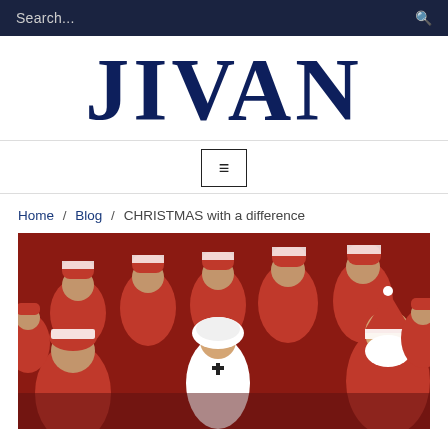Search...
JIVAN
≡
Home / Blog / CHRISTMAS with a difference
[Figure (photo): Group of children dressed in Santa Claus costumes and one child in white dress, gathered together for a Christmas celebration]